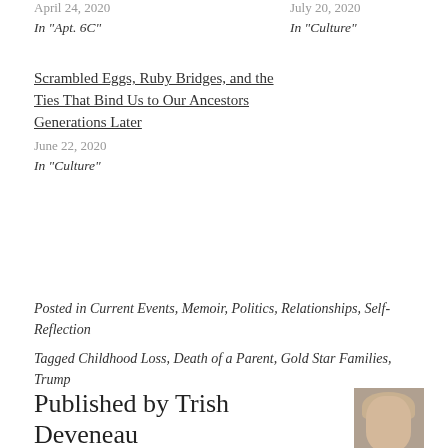April 24, 2020
In "Apt. 6C"
July 20, 2020
In "Culture"
Scrambled Eggs, Ruby Bridges, and the Ties That Bind Us to Our Ancestors Generations Later
June 22, 2020
In "Culture"
Posted in Current Events, Memoir, Politics, Relationships, Self-Reflection
Tagged Childhood Loss, Death of a Parent, Gold Star Families, Trump
Published by Trish Deveneau